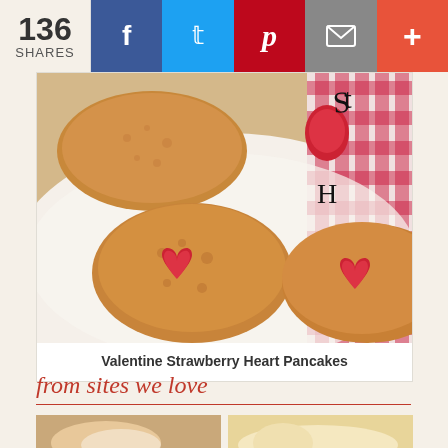136 SHARES
[Figure (photo): Social sharing bar with Facebook, Twitter, Pinterest, email, and more buttons]
[Figure (photo): Photo of Valentine Strawberry Heart Pancakes on a white plate with a red gingham cloth background]
Valentine Strawberry Heart Pancakes
from sites we love
[Figure (photo): Thumbnail image of a food dish on left]
[Figure (photo): Thumbnail image of a food dish with strawberries on right]